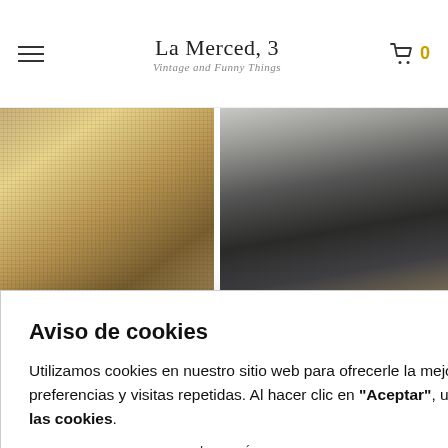La Merced, 3 — Vintage and Funny Things
[Figure (photo): Close-up of a textured gold/beige snakeskin or reptile-pattern handbag or clutch]
[Figure (photo): Dark navy or black jacket/coat on a wooden hanger against a light background]
le Marithé rbaud
Aviso de cookies
Utilizamos cookies en nuestro sitio web para ofrecerle la mejor experiencia recordando sus preferencias y visitas repetidas. Al hacer clic en "Aceptar", usted acepta el uso de TODAS las cookies. Leer más
Ajustes  Aceptar  No, gracias
[Figure (photo): Gold-tone jewelry charm bracelet with pearl beads and leaf/floral charms on a wooden surface]